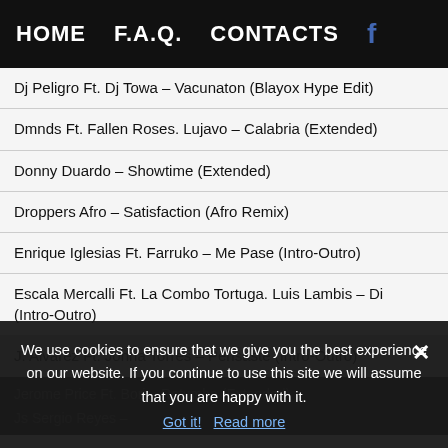HOME   F.A.Q.   CONTACTS   f
Dj Peligro Ft. Dj Towa – Vacunaton (Blayox Hype Edit)
Dmnds Ft. Fallen Roses. Lujavo – Calabria (Extended)
Donny Duardo – Showtime (Extended)
Droppers Afro – Satisfaction (Afro Remix)
Enrique Iglesias Ft. Farruko – Me Pase (Intro-Outro)
Escala Mercalli Ft. La Combo Tortuga. Luis Lambis – Di (Intro-Outro)
J. Alvarez Ft. Jonna Torres – Pensaste (Intro-Outro)
We use cookies to ensure that we give you the best experience on our website. If you continue to use this site we will assume that you are happy with it.
Jerome Price Ft. Bori – Retumba (Extended)
Js Sergio Reyes –